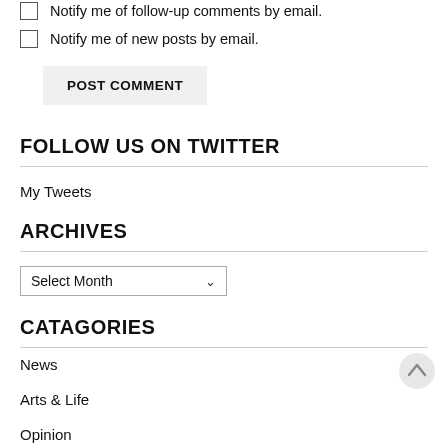Notify me of follow-up comments by email.
Notify me of new posts by email.
POST COMMENT
FOLLOW US ON TWITTER
My Tweets
ARCHIVES
Select Month
CATAGORIES
News
Arts & Life
Opinion